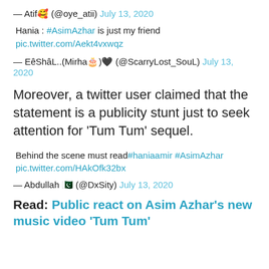— Atif🥰 (@oye_atii) July 13, 2020
Hania : #AsimAzhar is just my friend
pic.twitter.com/Aekt4vxwqz
— EêShâL..(Mirha🎂)🖤 (@ScarryLost_SouL) July 13, 2020
Moreover, a twitter user claimed that the statement is a publicity stunt just to seek attention for 'Tum Tum' sequel.
Behind the scene must read#haniaamir #AsimAzhar
pic.twitter.com/HAkOfk32bx
— Abdullah 🇵🇰 (@DxSity) July 13, 2020
Read: Public react on Asim Azhar's new music video 'Tum Tum'